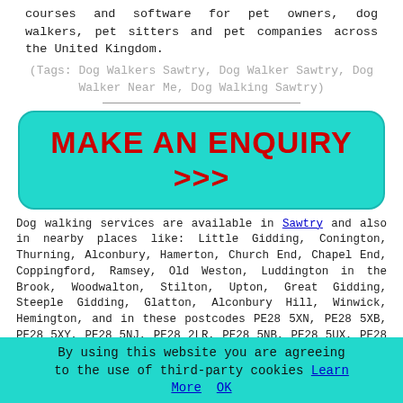courses and software for pet owners, dog walkers, pet sitters and pet companies across the United Kingdom.
(Tags: Dog Walkers Sawtry, Dog Walker Sawtry, Dog Walker Near Me, Dog Walking Sawtry)
[Figure (other): Cyan rounded-rectangle button with red bold text reading MAKE AN ENQUIRY >>>]
Dog walking services are available in Sawtry and also in nearby places like: Little Gidding, Conington, Thurning, Alconbury, Hamerton, Church End, Chapel End, Coppingford, Ramsey, Old Weston, Luddington in the Brook, Woodwalton, Stilton, Upton, Great Gidding, Steeple Gidding, Glatton, Alconbury Hill, Winwick, Hemington, and in these postcodes PE28 5XN, PE28 5XB, PE28 5XY, PE28 5NJ, PE28 2LR, PE28 5NB, PE28 5UX, PE28 5SZ, PE28 5TF, PE28 5YQ. Local Sawtry dog walkers will most likely have the postcode PE28 and the dialling code 01487. Verifying this can confirm you access local dog walkers. Sawtry property owners will be able to utilise these and numerous other comparable services. Click on the "quote" banner to get details about dog walking
By using this website you are agreeing to the use of third-party cookies Learn More  OK